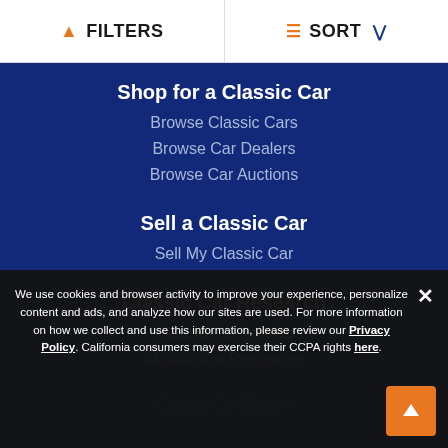FILTERS   SORT
Shop for a Classic Car
Browse Classic Cars
Browse Car Dealers
Browse Car Auctions
Sell a Classic Car
Sell My Classic Car
Classic Car Research
Classic Car Articles
Classic Car Resources
Classic Car Events
We use cookies and browser activity to improve your experience, personalize content and ads, and analyze how our sites are used. For more information on how we collect and use this information, please review our Privacy Policy. California consumers may exercise their CCPA rights here.